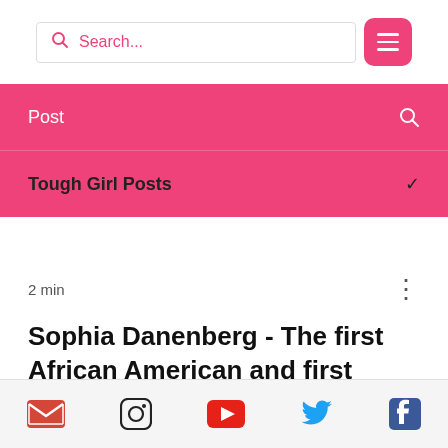Search... [search box] [menu button]
Post
Tough Girl Posts
2 min
Sophia Danenberg - The first African American and first Black woman to climb Mount Everest.
[Figure (infographic): Social media icons bar: email, Instagram, YouTube, Twitter, Facebook]